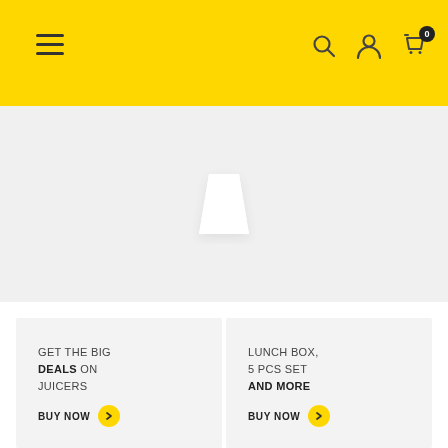[Figure (screenshot): Yellow navigation header bar with hamburger menu icon on the left and search, user, and cart icons on the right. Cart shows badge with 0.]
[Figure (photo): Light gray hero banner area with a faint white lampshade/trapezoid shape in the center, product placeholder.]
GET THE BIG DEALS ON JUICERS
BUY NOW
LUNCH BOX, 5 PCS SET AND MORE
BUY NOW